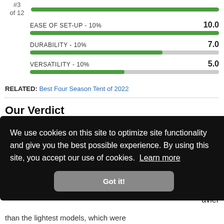#3 of 12
[Figure (bar-chart): Ratings]
RELATED: Best Four Season Tent of 2022
Our Verdict
We use cookies on this site to optimize site functionality and give you the best possible experience. By using this site, you accept our use of cookies. Learn more
Got it!
than the lightest models, which were